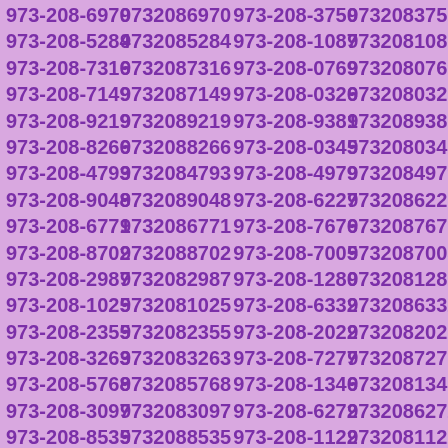973-208-6970 9732086970 973-208-3750 9732083750 973-208-5284 9732085284 973-208-1087 9732081087 973-208-7316 9732087316 973-208-0769 9732080769 973-208-7149 9732087149 973-208-0326 9732080326 973-208-9219 9732089219 973-208-9381 9732089381 973-208-8266 9732088266 973-208-0345 9732080345 973-208-4793 9732084793 973-208-4979 9732084979 973-208-9048 9732089048 973-208-6227 9732086227 973-208-6771 9732086771 973-208-7676 9732087676 973-208-8702 9732088702 973-208-7005 9732087005 973-208-2987 9732082987 973-208-1280 9732081280 973-208-1025 9732081025 973-208-6332 9732086332 973-208-2355 9732082355 973-208-2022 9732082022 973-208-3263 9732083263 973-208-7277 9732087277 973-208-5768 9732085768 973-208-1346 9732081346 973-208-3097 9732083097 973-208-6272 9732086272 973-208-8535 9732088535 973-208-1122 9732081122 973-208-3846 9732083846 973-208-4999 9732084999 973-208-0435 9732080435 973-208-6455 9732086455 973-208-0097 9732080097 973-208-4175 9732084175 973-208-6654 9732086654 973-208-2967 9732082967